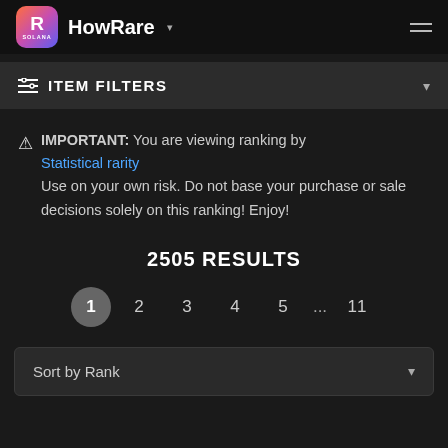HowRare
ITEM FILTERS
IMPORTANT: You are viewing ranking by Statistical rarity Use on your own risk. Do not base your purchase or sale decisions solely on this ranking! Enjoy!
2505 RESULTS
1 2 3 4 5 ... 11
Sort by Rank